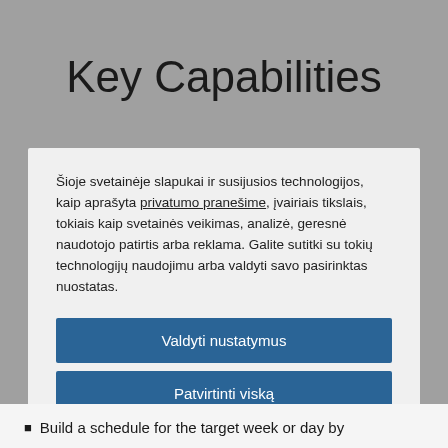Key Capabilities
Šioje svetainėje slapukai ir susijusios technologijos, kaip aprašyta privatumo pranešime, įvairiais tikslais, tokiais kaip svetainės veikimas, analizė, geresnė naudotojo patirtis arba reklama. Galite sutitki su tokių technologijų naudojimu arba valdyti savo pasirinktas nuostatas.
Valdyti nustatymus
Patvirtinti viską
Atsisakyti visko
Pareiškimas apie slapukus
Build a schedule for the target week or day by